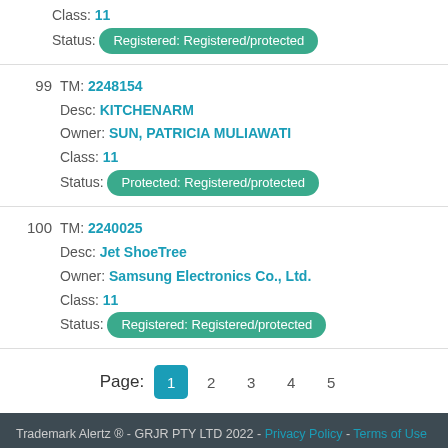Class: 11
Status: Registered: Registered/protected
99 TM: 2248154 Desc: KITCHENARM Owner: SUN, PATRICIA MULIAWATI Class: 11 Status: Protected: Registered/protected
100 TM: 2240025 Desc: Jet ShoeTree Owner: Samsung Electronics Co., Ltd. Class: 11 Status: Registered: Registered/protected
Page: 1 2 3 4 5
Trademark Alertz ® - GRJR PTY LTD 2022 - Privacy Policy - Terms of Use
The information provided on Trademark Alertz is not legal or professional advice. Information may have been obtained from third parties and may contain errors. You must make your own enquiries and seek independent advice from relevant industry professionals before acting or relying on any information from Trademark Alertz. All trade mark information has been